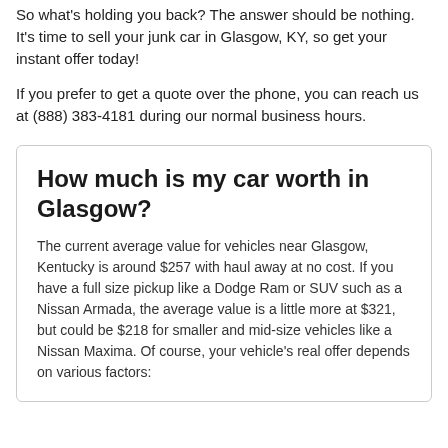So what's holding you back? The answer should be nothing. It's time to sell your junk car in Glasgow, KY, so get your instant offer today!
If you prefer to get a quote over the phone, you can reach us at (888) 383-4181 during our normal business hours.
How much is my car worth in Glasgow?
The current average value for vehicles near Glasgow, Kentucky is around $257 with haul away at no cost. If you have a full size pickup like a Dodge Ram or SUV such as a Nissan Armada, the average value is a little more at $321, but could be $218 for smaller and mid-size vehicles like a Nissan Maxima. Of course, your vehicle's real offer depends on various factors: